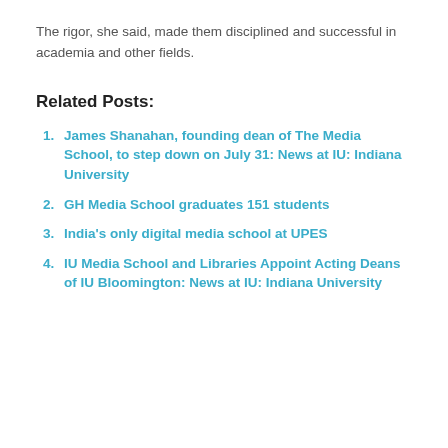The rigor, she said, made them disciplined and successful in academia and other fields.
Related Posts:
James Shanahan, founding dean of The Media School, to step down on July 31: News at IU: Indiana University
GH Media School graduates 151 students
India's only digital media school at UPES
IU Media School and Libraries Appoint Acting Deans of IU Bloomington: News at IU: Indiana University